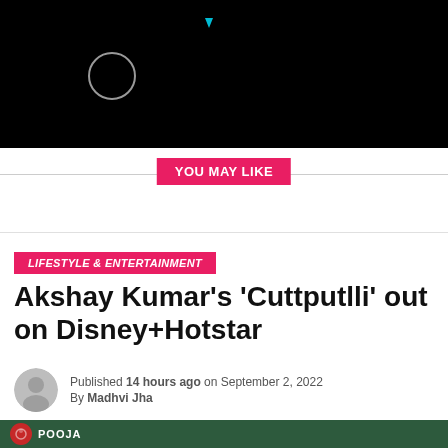[Figure (screenshot): Black video player area with a loading spinner circle and a small blue triangle/dot at the top]
YOU MAY LIKE
LIFESTYLE & ENTERTAINMENT
Akshay Kumar's 'Cuttputlli' out on Disney+Hotstar
Published 14 hours ago on September 2, 2022
By Madhvi Jha
[Figure (photo): Bottom strip showing POOJA logo on dark green background]